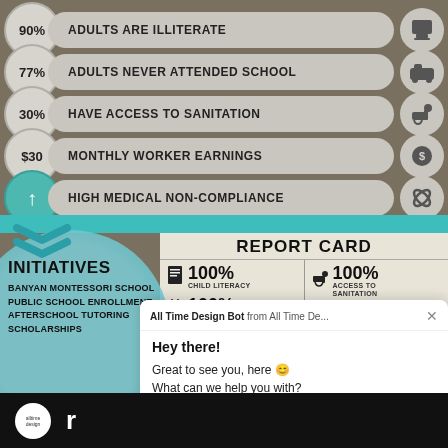[Figure (infographic): Education/social statistics infographic showing: 90% adults are illiterate, 77% adults never attended school, 30% have access to sanitation, $30 monthly worker earnings, high medical non-compliance. Report Card section showing 100% child literacy, 100% attendance, 100% access to sanitation, 82% have college aspirations, increased family income. Initiatives listed: Banyan Montessori School, Public School Enrollment, Afterschool Tutoring, Scholarships.]
All Time Design Bot from All Time De... Hey there! Great to see you, here 😊 What can we help you with?